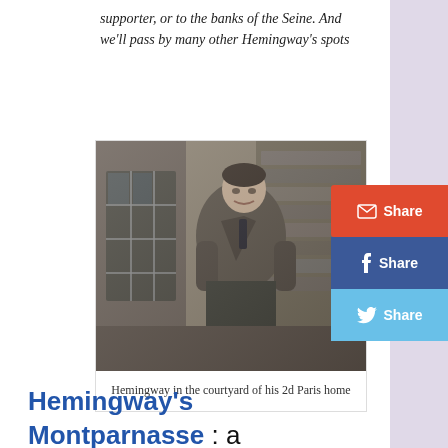supporter, or to the banks of the Seine. And we'll pass by many other Hemingway's spots
[Figure (photo): Black and white photograph of Ernest Hemingway standing in the courtyard of his 2d Paris home, wearing a suit jacket with hands in pockets]
Hemingway in the courtyard of his 2d Paris home
Hemingway's Montparnasse : a neighborhood where many